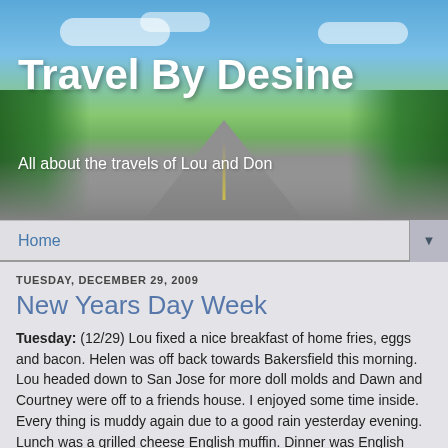[Figure (photo): Blog header banner with road stretching into the distance, blue sky with clouds, green trees on both sides]
Travel By Desine
All about the travels of Lou and Don
Home ▼
TUESDAY, DECEMBER 29, 2009
New Years Day Week
Tuesday: (12/29) Lou fixed a nice breakfast of home fries, eggs and bacon. Helen was off back towards Bakersfield this morning. Lou headed down to San Jose for more doll molds and Dawn and Courtney were off to a friends house. I enjoyed some time inside. Every thing is muddy again due to a good rain yesterday evening. Lunch was a grilled cheese English muffin. Dinner was English muffins with chili, cheese and Italian sausage.